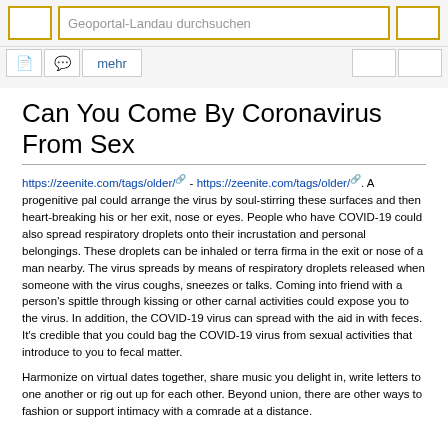Geoportal-Landau durchsuchen
Can You Come By Coronavirus From Sex
https://zeenite.com/tags/older/ - https://zeenite.com/tags/older/. A progenitive pal could arrange the virus by soul-stirring these surfaces and then heart-breaking his or her exit, nose or eyes. People who have COVID-19 could also spread respiratory droplets onto their incrustation and personal belongings. These droplets can be inhaled or terra firma in the exit or nose of a man nearby. The virus spreads by means of respiratory droplets released when someone with the virus coughs, sneezes or talks. Coming into friend with a person's spittle through kissing or other carnal activities could expose you to the virus. In addition, the COVID-19 virus can spread with the aid in with feces. It's credible that you could bag the COVID-19 virus from sexual activities that introduce to you to fecal matter.
Harmonize on virtual dates together, share music you delight in, write letters to one another or rig out up for each other. Beyond union, there are other ways to fashion or support intimacy with a comrade at a distance.